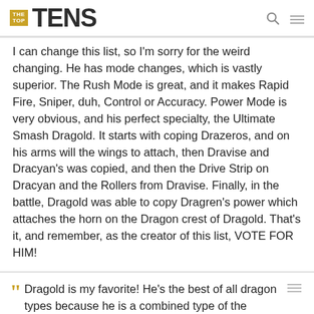THE TOP TENS
I can change this list, so I'm sorry for the weird changing. He has mode changes, which is vastly superior. The Rush Mode is great, and it makes Rapid Fire, Sniper, duh, Control or Accuracy. Power Mode is very obvious, and his perfect specialty, the Ultimate Smash Dragold. It starts with coping Drazeros, and on his arms will the wings to attach, then Dravise and Dracyan's was copied, and then the Drive Strip on Dracyan and the Rollers from Dravise. Finally, in the battle, Dragold was able to copy Dragren's power which attaches the horn on the Dragon crest of Dragold. That's it, and remember, as the creator of this list, VOTE FOR HIM!
Dragold is my favorite! He's the best of all dragon types because he is a combined type of the three: power, rapid-fire, and control. Dragold's special moves are Hammer Smash (his common shot), Gold Dragon Strike (his double shot), Gold Dragon Tornado Spiral Attack, and Gold Dragon Double Blast.